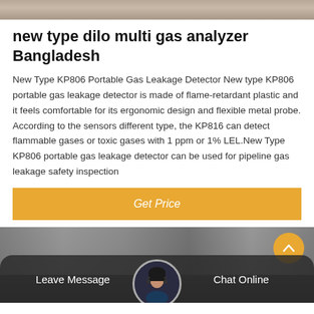[Figure (photo): Top decorative image strip showing a blurred background scene]
new type dilo multi gas analyzer Bangladesh
New Type KP806 Portable Gas Leakage Detector New type KP806 portable gas leakage detector is made of flame-retardant plastic and it feels comfortable for its ergonomic design and flexible metal probe. According to the sensors different type, the KP816 can detect flammable gases or toxic gases with 1 ppm or 1% LEL.New Type KP806 portable gas leakage detector can be used for pipeline gas leakage safety inspection
[Figure (other): Get Price button — orange/amber colored button with white italic text]
[Figure (photo): Bottom section with background scene, circular avatar photo of a woman with headset, Leave Message and Chat Online buttons, and back-to-top arrow button]